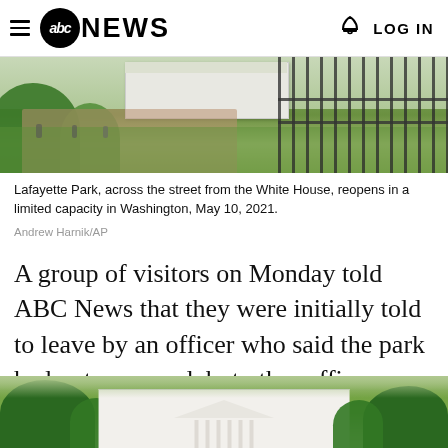abc NEWS  LOG IN
[Figure (photo): Lafayette Park, across the street from the White House, with green trees, a red-brick path, a white building in the background, and a fence on the right side.]
Lafayette Park, across the street from the White House, reopens in a limited capacity in Washington, May 10, 2021.
Andrew Harnik/AP
A group of visitors on Monday told ABC News that they were initially told to leave by an officer who said the park had not reopened, but other officers quickly stepped in to say the square had indeed reopened and that they could stay.
[Figure (photo): The White House with columns visible in the center, flanked by large green trees on both sides, viewed from across the street.]